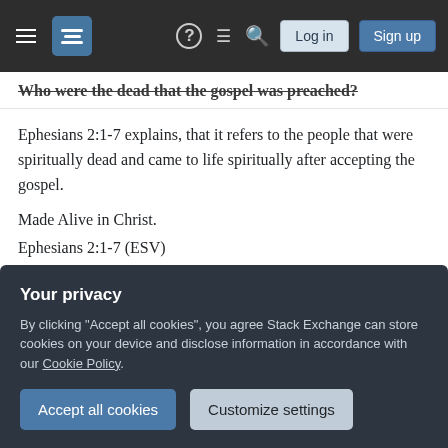Stack Exchange navigation bar with hamburger menu, logo, help icon, chat icon, search icon, Log in and Sign up buttons
Who were the dead that the gospel was preached?
Ephesians 2:1-7 explains, that it refers to the people that were spiritually dead and came to life spiritually after accepting the gospel.
Made Alive in Christ.
Ephesians 2:1-7 (ESV)
2 And you were dead in the trespasses and sins
2 in which you once walked, following the
Your privacy
By clicking "Accept all cookies", you agree Stack Exchange can store cookies on your device and disclose information in accordance with our Cookie Policy.
mankind.